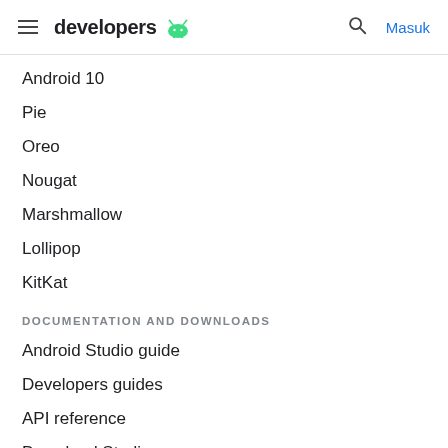developers — Masuk
Android 10
Pie
Oreo
Nougat
Marshmallow
Lollipop
KitKat
DOCUMENTATION AND DOWNLOADS
Android Studio guide
Developers guides
API reference
Download Studio